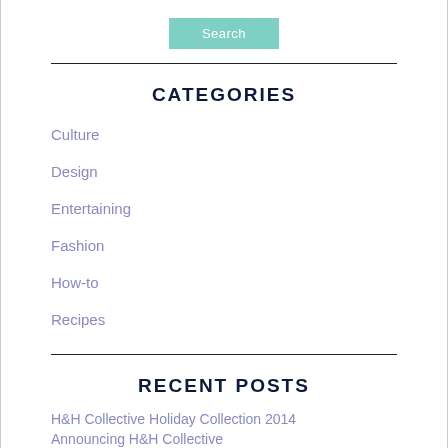[Figure (other): Search button, teal/mint colored rectangular button with white text 'Search']
CATEGORIES
Culture
Design
Entertaining
Fashion
How-to
Recipes
RECENT POSTS
H&H Collective Holiday Collection 2014
Announcing H&H Collective